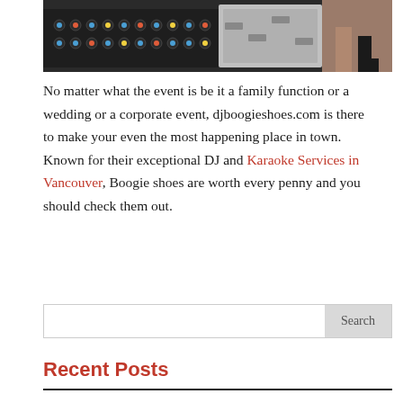[Figure (photo): Close-up photograph of a DJ mixing board/console with colorful knobs and sliders, with blurred people legs visible in the background]
No matter what the event is be it a family function or a wedding or a corporate event, djboogieshoes.com is there to make your even the most happening place in town. Known for their exceptional DJ and Karaoke Services in Vancouver, Boogie shoes are worth every penny and you should check them out.
Recent Posts